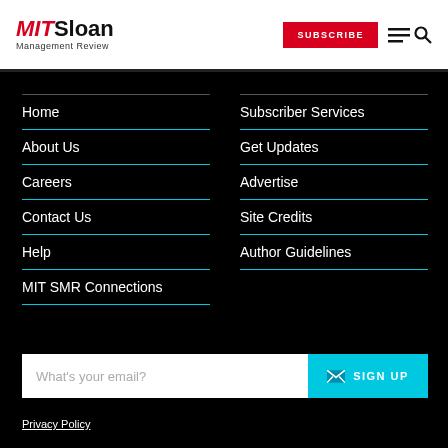MIT Sloan Management Review — SUBSCRIBE
Home
About Us
Careers
Contact Us
Help
MIT SMR Connections
Subscriber Services
Get Updates
Advertise
Site Credits
Author Guidelines
What's your email?
SIGN UP
Privacy Policy